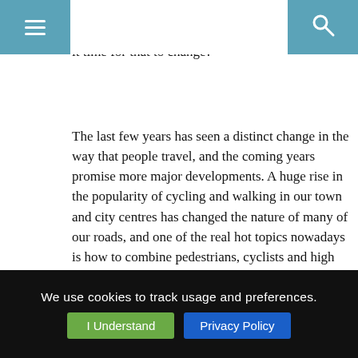Thus, it's very rare to see more than one transport system properly assessed in a single model, but is it time for that to change?
The last few years has seen a distinct change in the way that people travel, and the coming years promise more major developments. A huge rise in the popularity of cycling and walking in our town and city centres has changed the nature of many of our roads, and one of the real hot topics nowadays is how to combine pedestrians, cyclists and high speed road users safely and efficiently. There is so much talk about new types of vehicle (autonomous vehicles, China's Transit Elevated Bus to name but a few) and one of the keys to their success will be how they react and interact with other vehicles, people and the
We use cookies to track usage and preferences. I Understand | Privacy Policy